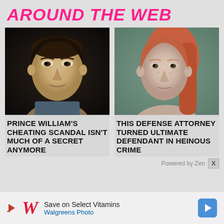AROUND THE WEB
[Figure (photo): Portrait photo of a man (Prince William) with dark background]
[Figure (photo): Mugshot-style photo of a red-haired woman against a gray background]
PRINCE WILLIAM'S CHEATING SCANDAL ISN'T MUCH OF A SECRET ANYMORE
THIS DEFENSE ATTORNEY TURNED ULTIMATE DEFENDANT IN HEINOUS CRIME
Powered by Zen
[Figure (logo): Walgreens logo with W and navigation arrow icon. Save on Select Vitamins / Walgreens Photo advertisement.]